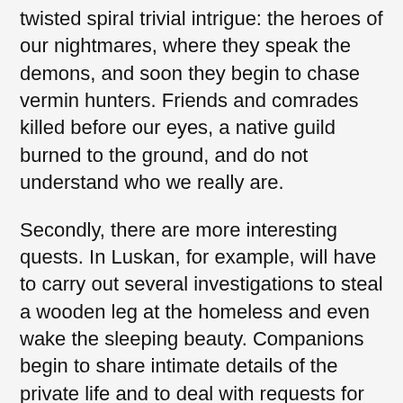twisted spiral trivial intrigue: the heroes of our nightmares, where they speak the demons, and soon they begin to chase vermin hunters. Friends and comrades killed before our eyes, a native guild burned to the ground, and do not understand who we really are.
Secondly, there are more interesting quests. In Luskan, for example, will have to carry out several investigations to steal a wooden leg at the homeless and even wake the sleeping beauty. Companions begin to share intimate details of the private life and to deal with requests for help – one of them, for example, ran away from home and now is afraid to communicate with the birth mother, but the fault of the other inhabitants of his village were killed.
The dialogues are increasingly given the opportunity b...